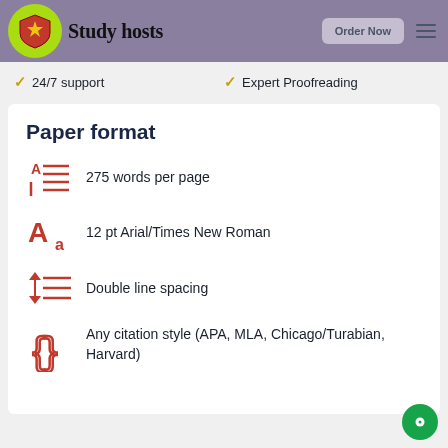Study hosts — Order Now
✓ 24/7 support
✓ Expert Proofreading
Paper format
275 words per page
12 pt Arial/Times New Roman
Double line spacing
Any citation style (APA, MLA, Chicago/Turabian, Harvard)